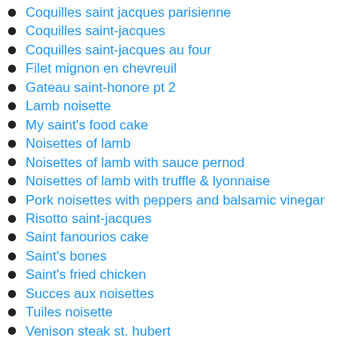Coquilles saint jacques parisienne
Coquilles saint-jacques
Coquilles saint-jacques au four
Filet mignon en chevreuil
Gateau saint-honore pt 2
Lamb noisette
My saint's food cake
Noisettes of lamb
Noisettes of lamb with sauce pernod
Noisettes of lamb with truffle & lyonnaise
Pork noisettes with peppers and balsamic vinegar
Risotto saint-jacques
Saint fanourios cake
Saint's bones
Saint's fried chicken
Succes aux noisettes
Tuiles noisette
Venison steak st. hubert